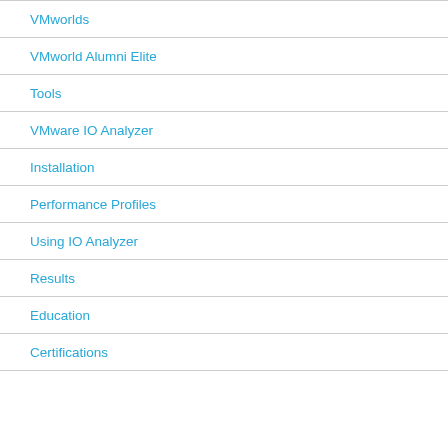VMworlds
VMworld Alumni Elite
Tools
VMware IO Analyzer
Installation
Performance Profiles
Using IO Analyzer
Results
Education
Certifications